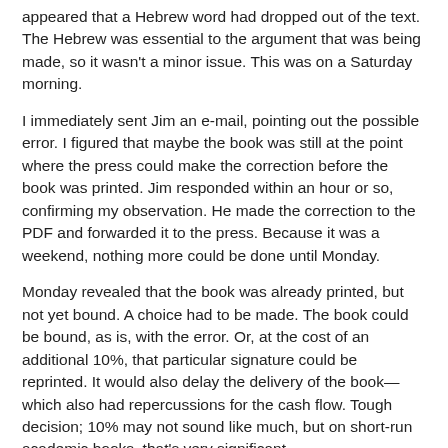appeared that a Hebrew word had dropped out of the text. The Hebrew was essential to the argument that was being made, so it wasn't a minor issue. This was on a Saturday morning.
I immediately sent Jim an e-mail, pointing out the possible error. I figured that maybe the book was still at the point where the press could make the correction before the book was printed. Jim responded within an hour or so, confirming my observation. He made the correction to the PDF and forwarded it to the press. Because it was a weekend, nothing more could be done until Monday.
Monday revealed that the book was already printed, but not yet bound. A choice had to be made. The book could be bound, as is, with the error. Or, at the cost of an additional 10%, that particular signature could be reprinted. It would also delay the delivery of the book—which also had repercussions for the cash flow. Tough decision; 10% may not sound like much, but on short-run academic books, that's very significant.
As you probably guessed (at least if you know anything